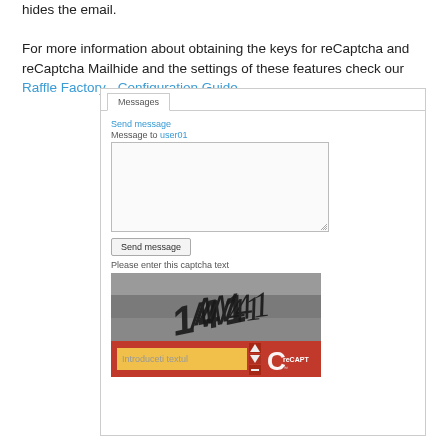hides the email.

For more information about obtaining the keys for reCaptcha and reCaptcha Mailhide and the settings of these features check our Raffle Factory - Configuration Guide.
[Figure (screenshot): Screenshot of a messaging interface showing a 'Messages' tab, 'Send message' link, 'Message to user01' label, a textarea input, a 'Send message' button, a 'Please enter this captcha text' label, and a reCAPTCHA widget with a distorted text image showing '141' and a yellow input field labeled 'Introduceti textul' with a red reCAPTCHA branding bar.]